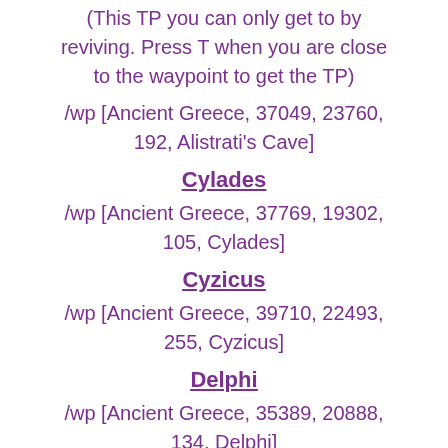(This TP you can only get to by reviving. Press T when you are close to the waypoint to get the TP)
/wp [Ancient Greece, 37049, 23760, 192, Alistrati's Cave]
Cylades
/wp [Ancient Greece, 37769, 19302, 105, Cylades]
Cyzicus
/wp [Ancient Greece, 39710, 22493, 255, Cyzicus]
Delphi
/wp [Ancient Greece, 35389, 20888, 134, Delphi]
Delos